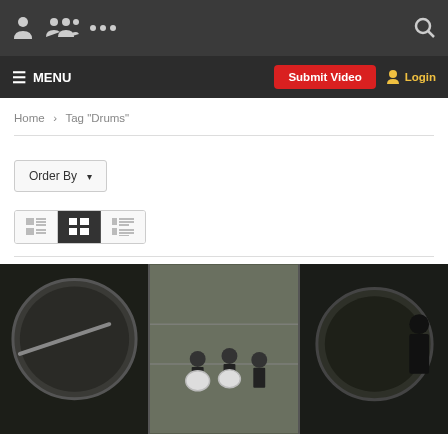Top navigation bar with logo icons, menu dots, and search icon
MENU  |  Submit Video  |  Login
Home > Tag "Drums"
Order By ▾
[Figure (screenshot): View toggle buttons: list view, grid view (active/dark), detail list view]
[Figure (photo): Three video thumbnails side by side showing marching band drummers]